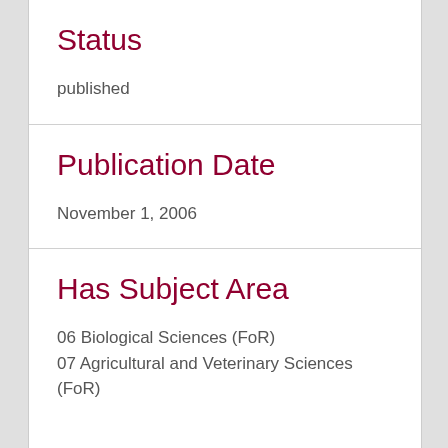Status
published
Publication Date
November 1, 2006
Has Subject Area
06 Biological Sciences (FoR)
07 Agricultural and Veterinary Sciences (FoR)